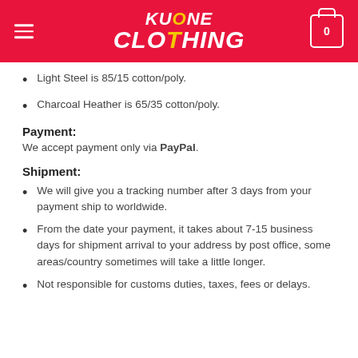KUONE CLOTHING
Light Steel is 85/15 cotton/poly.
Charcoal Heather is 65/35 cotton/poly.
Payment:
We accept payment only via PayPal.
Shipment:
We will give you a tracking number after 3 days from your payment ship to worldwide.
From the date your payment, it takes about 7-15 business days for shipment arrival to your address by post office, some areas/country sometimes will take a little longer.
Not responsible for customs duties, taxes, fees or delays.